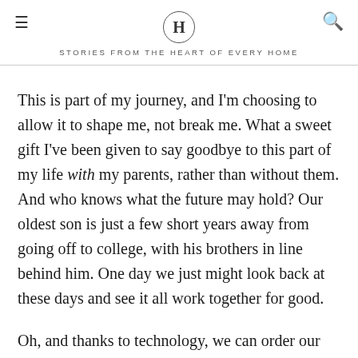H | STORIES FROM THE HEART OF EVERY HOME
This is part of my journey, and I'm choosing to allow it to shape me, not break me. What a sweet gift I've been given to say goodbye to this part of my life with my parents, rather than without them. And who knows what the future may hold? Our oldest son is just a few short years away from going off to college, with his brothers in line behind him. One day we just might look back at these days and see it all work together for good.
Oh, and thanks to technology, we can order our favorite Chicago style pizza any time we feel like it.